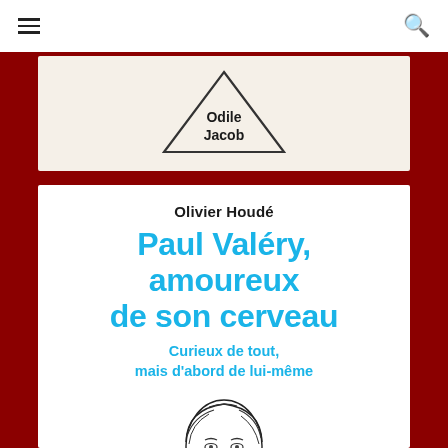[Figure (logo): Navigation bar with hamburger menu icon on the left and search icon on the right, white background]
[Figure (logo): Odile Jacob publisher logo — triangle outline with 'Odile Jacob' text inside, on beige/cream background]
Olivier Houdé
Paul Valéry, amoureux de son cerveau
Curieux de tout,
mais d'abord de lui-même
[Figure (illustration): Pencil line-art illustration of a man's face and head (Paul Valéry portrait), partially cropped at bottom of page]